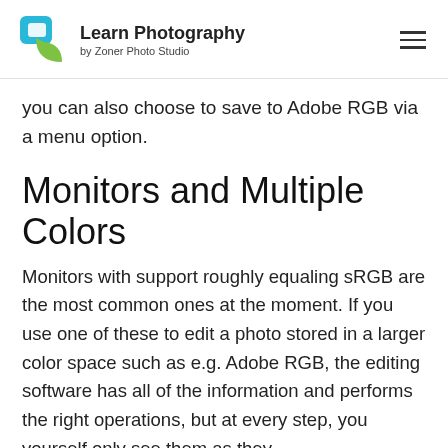Learn Photography by Zoner Photo Studio
you can also choose to save to Adobe RGB via a menu option.
Monitors and Multiple Colors
Monitors with support roughly equaling sRGB are the most common ones at the moment. If you use one of these to edit a photo stored in a larger color space such as e.g. Adobe RGB, the editing software has all of the information and performs the right operations, but at every step, you yourself only see them as they